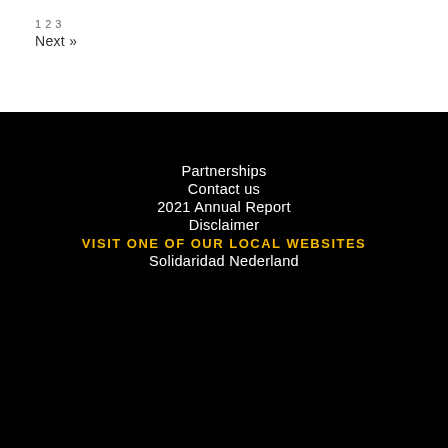1 2 3
Next »
Partnerships
Contact us
2021 Annual Report
Disclaimer
VISIT ONE OF OUR LOCAL WEBSITES
Solidaridad Nederland